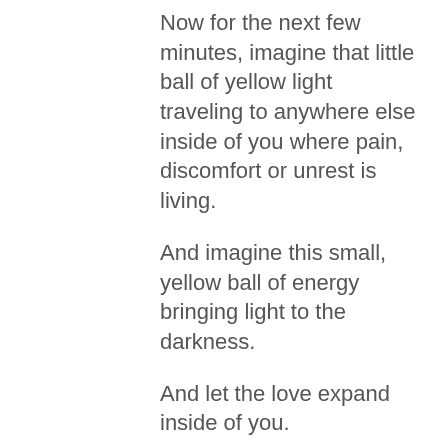Now for the next few minutes, imagine that little ball of yellow light traveling to anywhere else inside of you where pain, discomfort or unrest is living.
And imagine this small, yellow ball of energy bringing light to the darkness.
And let the love expand inside of you.
PAUSE...
Now bring your attention to your breath.
Noticing the yellow light glowing